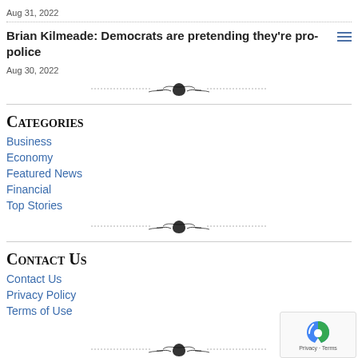Aug 31, 2022
Brian Kilmeade: Democrats are pretending they're pro-police
Aug 30, 2022
Categories
Business
Economy
Featured News
Financial
Top Stories
Contact Us
Contact Us
Privacy Policy
Terms of Use